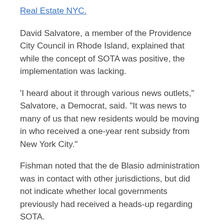Real Estate NYC.
David Salvatore, a member of the Providence City Council in Rhode Island, explained that while the concept of SOTA was positive, the implementation was lacking.
"I heard about it through various news outlets," Salvatore, a Democrat, said. "It was news to many of us that new residents would be moving in who received a one-year rent subsidy from New York City."
Fishman noted that the de Blasio administration was in contact with other jurisdictions, but did not indicate whether local governments previously had received a heads-up regarding SOTA.
"The de Blasio administration remains committed to open, ongoing engagement—and we are in direct and